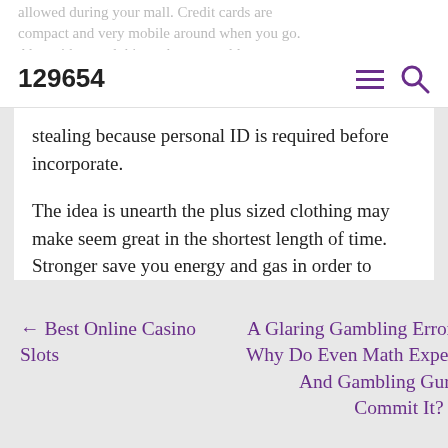129654
stealing because personal ID is required before incorporate.
The idea is unearth the plus sized clothing may make seem great in the shortest length of time. Stronger save you energy and gas in order to driving around the place. Have fun ladies!
Uncategorized
← Best Online Casino Slots
A Glaring Gambling Error – Why Do Even Math Experts And Gambling Gurus Commit It? →